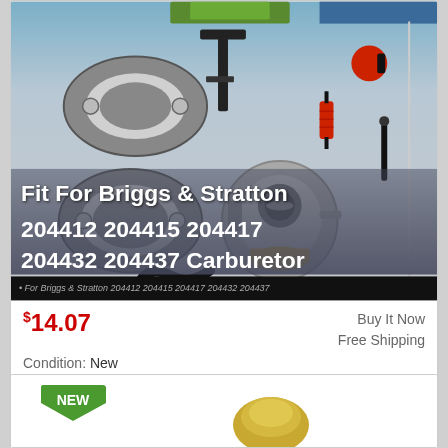[Figure (photo): Product photo of carburetor kit parts including gaskets, fuel filter, carburetor body, hoses and a choke rod, with overlaid white bold text reading 'Fit For Briggs & Stratton 204412 204415 204417 204432 204437 Carburetor' and a subtitle bar with italic text '• For Briggs & Stratton 204412 204415 204417 204432 204437']
$14.07
Buy It Now
Free Shipping
Condition: New
Location: Chino, United States
Description: 1 Year Warranty (Tips: press "Ctrl + F" to help you quick locate the model you are looking for) Fits For Many Briggs & Stratton Models: .
[Figure (photo): Partial view of a second product listing showing a green 'NEW' badge and a gold-colored part]